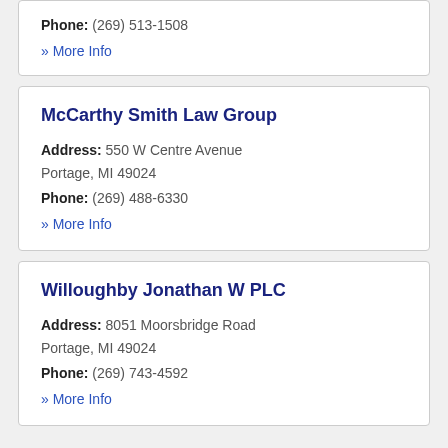Phone: (269) 513-1508
» More Info
McCarthy Smith Law Group
Address: 550 W Centre Avenue Portage, MI 49024
Phone: (269) 488-6330
» More Info
Willoughby Jonathan W PLC
Address: 8051 Moorsbridge Road Portage, MI 49024
Phone: (269) 743-4592
» More Info